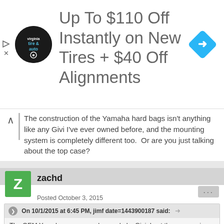[Figure (illustration): Advertisement banner: Virginia Tire & Auto logo (circular, black background) on left, large text 'Up To $110 Off Instantly on New Tires + $40 Off Alignments' in center, blue diamond navigation icon on right.]
The construction of the Yamaha hard bags isn't anything like any Givi I've ever owned before, and the mounting system is completely different too.  Or are you just talking about the top case?
zachd
Posted October 3, 2015
On 10/1/2015 at 6:45 PM, jimf date=1443900187 said:
The OEM Yamaha cases are also made by Givi. I got the rear carrier and a 39L case for AUD$450 (US$317) from the dealer.